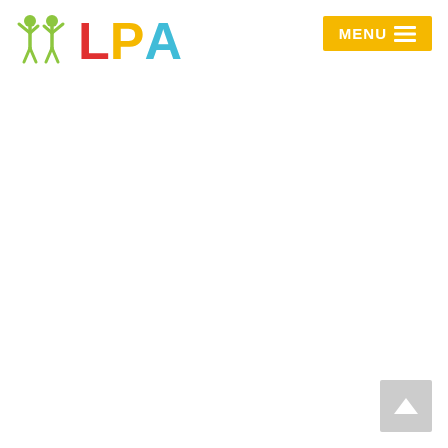LPA logo with stick figures and MENU button
[Figure (logo): LPA logo: two green stick figures with arms raised, followed by red L, yellow P, and cyan A letters]
[Figure (other): Yellow MENU button with hamburger icon in top right corner]
[Figure (other): Gray scroll-to-top button with white upward arrow in bottom right corner]